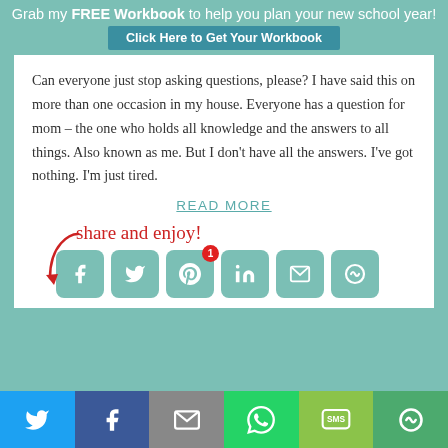Grab my FREE Workbook to help you plan your new school year!
Can everyone just stop asking questions, please? I have said this on more than one occasion in my house. Everyone has a question for mom – the one who holds all knowledge and the answers to all things. Also known as me. But I don't have all the answers. I've got nothing. I'm just tired.
READ MORE
[Figure (infographic): Share and enjoy! label with arrow and social media share buttons: Facebook, Twitter, Pinterest (with badge 1), LinkedIn, Email, More]
Social share bar with Twitter, Facebook, Email, WhatsApp, SMS, More icons